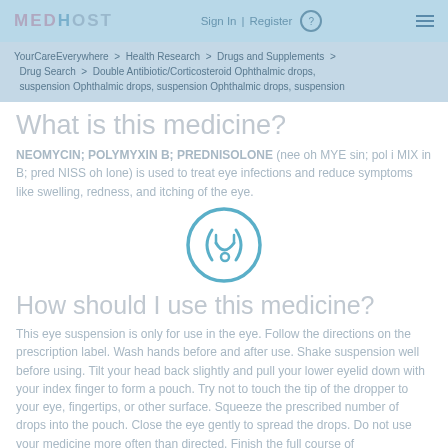MEDHOST | Sign In | Register
YourCareEverywhere > Health Research > Drugs and Supplements > Drug Search > Double Antibiotic/Corticosteroid Ophthalmic drops, suspension Ophthalmic drops, suspension Ophthalmic drops, suspension
What is this medicine?
NEOMYCIN; POLYMYXIN B; PREDNISOLONE (nee oh MYE sin; pol i MIX in B; pred NISS oh lone) is used to treat eye infections and reduce symptoms like swelling, redness, and itching of the eye.
[Figure (illustration): Circular stethoscope icon in teal/blue color]
How should I use this medicine?
This eye suspension is only for use in the eye. Follow the directions on the prescription label. Wash hands before and after use. Shake suspension well before using. Tilt your head back slightly and pull your lower eyelid down with your index finger to form a pouch. Try not to touch the tip of the dropper to your eye, fingertips, or other surface. Squeeze the prescribed number of drops into the pouch. Close the eye gently to spread the drops. Do not use your medicine more often than directed. Finish the full course of